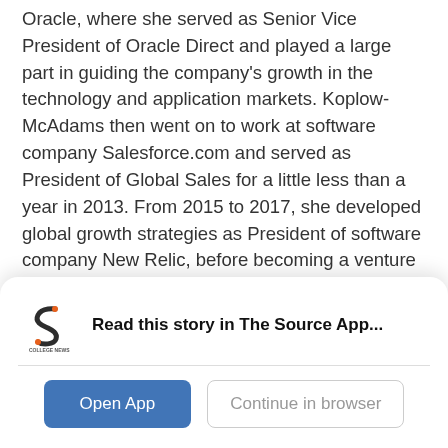Oracle, where she served as Senior Vice President of Oracle Direct and played a large part in guiding the company's growth in the technology and application markets. Koplow-McAdams then went on to work at software company Salesforce.com and served as President of Global Sales for a little less than a year in 2013. From 2015 to 2017, she developed global growth strategies as President of software company New Relic, before becoming a venture capitalist in 2017.
Koplow-McAdams currently serves as a chair on the Advisory Council of UChicago's Harris School of Public Policy and the Pancreatic Cancer Action Network. She
[Figure (logo): College News Source app logo — stylized orange/dark S letter mark with 'COLLEGE NEWS SOURCE' text beneath]
Read this story in The Source App...
Open App
Continue in browser